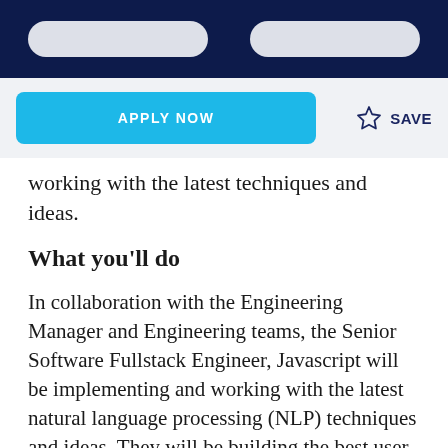working with the latest techniques and ideas.
What you'll do
In collaboration with the Engineering Manager and Engineering teams, the Senior Software Fullstack Engineer, Javascript will be implementing and working with the latest natural language processing (NLP) techniques and ideas. They will be building the best user experience for our customers and